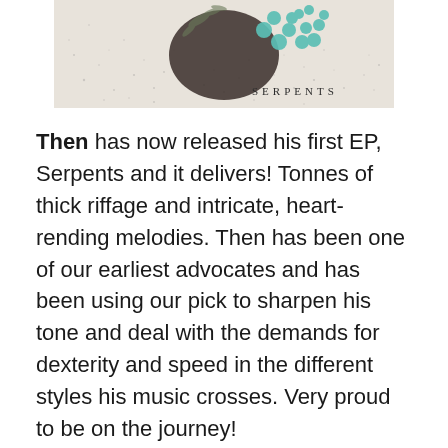[Figure (illustration): Album cover for 'Serpents' EP showing a bird with teal/turquoise crochet-style feathers and botanical elements on a light beige speckled background. The word SERPENTS appears in spaced serif capitals at the bottom right.]
Then has now released his first EP, Serpents and it delivers! Tonnes of thick riffage and intricate, heart-rending melodies. Then has been one of our earliest advocates and has been using our pick to sharpen his tone and deal with the demands for dexterity and speed in the different styles his music crosses. Very proud to be on the journey!
Hear it on Spotify now here. Personal favourite, Biting the